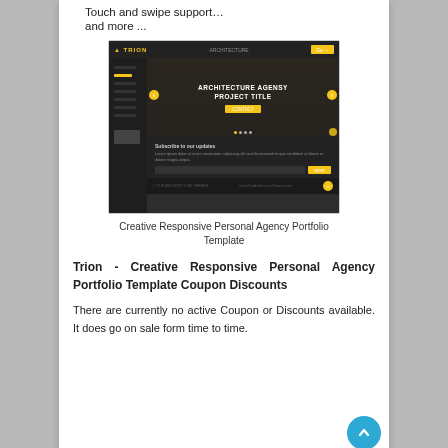Touch and swipe support…
and more ...
[Figure (screenshot): Screenshot of Trion – Creative Responsive Personal Agency Portfolio Template showing dark-themed website with navigation sidebar, hero slider with 'ARCHITECTURE AGENSY PROJECT TITLE', newsletter subscription section, and yellow accent buttons.]
Creative Responsive Personal Agency Portfolio Template
Trion - Creative Responsive Personal Agency Portfolio Template Coupon Discounts
There are currently no active Coupon or Discounts available. It does go on sale form time to time.